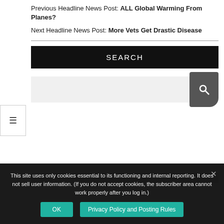Previous Headline News Post: ALL Global Warming From Planes?
Next Headline News Post: More Vets Get Drastic Disease
SEARCH
[Figure (other): Search input box with magnifying glass icon button]
This site uses only cookies essential to its functioning and internal reporting. It does not sell user information. (If you do not accept cookies, the subscriber area cannot work properly after you log in.)
OK
Privacy Policy and Posting Rules